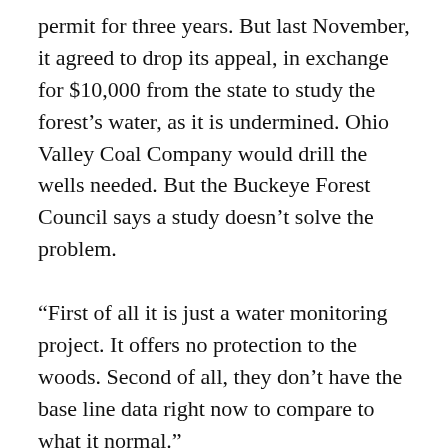permit for three years. But last November, it agreed to drop its appeal, in exchange for $10,000 from the state to study the forest's water, as it is undermined. Ohio Valley Coal Company would drill the wells needed. But the Buckeye Forest Council says a study doesn't solve the problem.
“First of all it is just a water monitoring project. It offers no protection to the woods. Second of all, they don’t have the base line data right now to compare to what it normal.”
That’s Susan Heikler, Executive Director of the